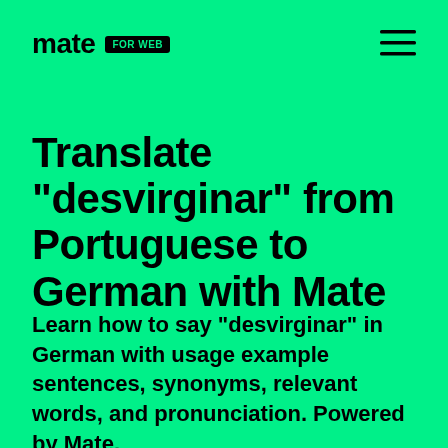mate FOR WEB
Translate "desvirginar" from Portuguese to German with Mate
Learn how to say "desvirginar" in German with usage example sentences, synonyms, relevant words, and pronunciation. Powered by Mate.